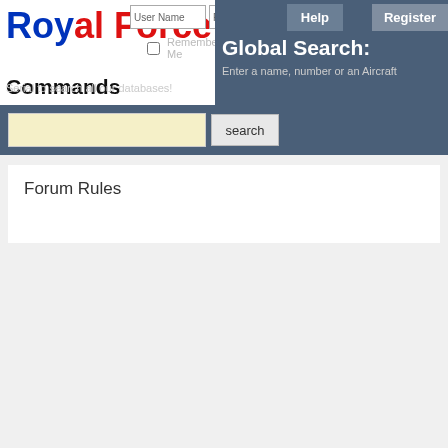Royal Air Force Commands - Global Search
Global Search: Enter a name, number or an Aircraft Serial to search all our databases!
Forum Rules